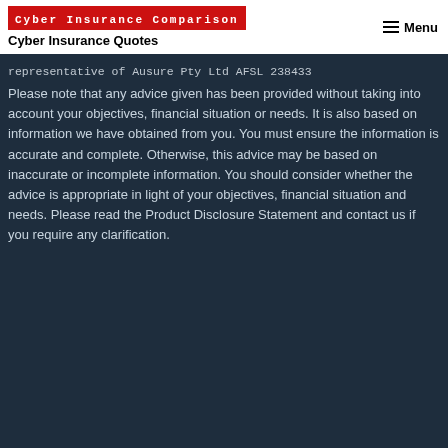Cyber Insurance Comparison | Cyber Insurance Quotes | Menu
representative of Ausure Pty Ltd AFSL 238433
Please note that any advice given has been provided without taking into account your objectives, financial situation or needs. It is also based on information we have obtained from you. You must ensure the information is accurate and complete. Otherwise, this advice may be based on inaccurate or incomplete information. You should consider whether the advice is appropriate in light of your objectives, financial situation and needs. Please read the Product Disclosure Statement and contact us if you require any clarification.